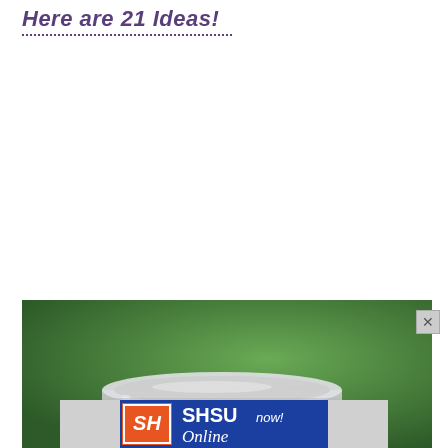Here are 21 Ideas!
[Figure (photo): Close-up photo of the top of a glass mason jar with a metal screw-on lid, set against a blurred green outdoor background.]
[Figure (logo): SHSU Online advertisement banner with orange SH logo on blue background, text reads 'SHSU Online now!']